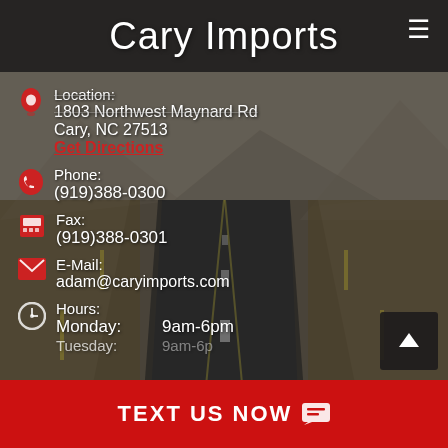Cary Imports
Location:
1803 Northwest Maynard Rd
Cary, NC 27513
Get Directions
Phone:
(919)388-0300
Fax:
(919)388-0301
E-Mail:
adam@caryimports.com
Hours:
Monday: 9am-6pm
Tuesday: 9am-6pm
TEXT US NOW